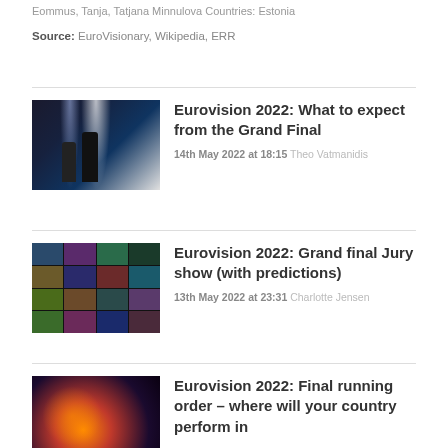Eommus, Tanja, Tatjana Minnulova Countries: Estonia
Source: EuroVisionary, Wikipedia, ERR
Eurovision 2022: What to expect from the Grand Final
14th May 2022 at 18:15 Theo Vatmanidis
[Figure (photo): Two performers on a stage with dramatic backlighting and light rays]
Eurovision 2022: Grand final Jury show (with predictions)
13th May 2022 at 23:31 Charlotte Jensen
[Figure (photo): Grid of 16 performance thumbnail photos from Eurovision acts]
Eurovision 2022: Final running order – where will your country perform in
[Figure (photo): Cosmic or globe image with orange and dark tones]